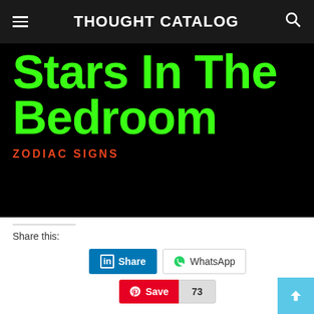THOUGHT CATALOG
[Figure (illustration): Black background hero image showing large green bold text 'Stars in the Bedroom' partially visible, with red uppercase text 'ZODIAC SIGNS' below]
Share this:
[Figure (screenshot): Share buttons: LinkedIn Share button (blue), WhatsApp button (white with icon), Pinterest Save button (red), and count badge showing 73]